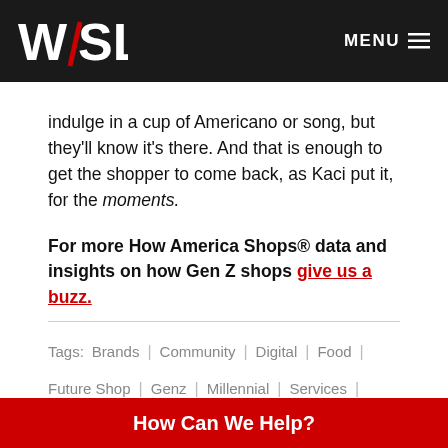WSL | MENU
indulge in a cup of Americano or song, but they'll know it's there. And that is enough to get the shopper to come back, as Kaci put it, for the moments.
For more How America Shops® data and insights on how Gen Z shops give us a buzz.
Tags: Brands | Community | Digital | Food | Future Shop | Genz | Millennial | Services | Transparency | Value | Beauty | Boomers | Genv | How America Shops | Path To Purchase
How Can We Help?